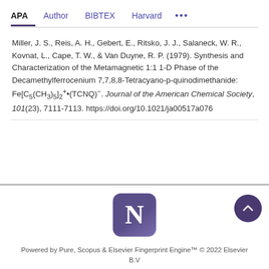APA  Author  BIBTEX  Harvard  ...
Miller, J. S., Reis, A. H., Gebert, E., Ritsko, J. J., Salaneck, W. R., Kovnat, L., Cape, T. W., & Van Duyne, R. P. (1979). Synthesis and Characterization of the Metamagnetic 1:1 1-D Phase of the Decamethylferrocenium 7,7,8,8-Tetracyano-p-quinodimethanide: Fe[C5(CH3)5]2+•(TCNQ)−. Journal of the American Chemical Society, 101(23), 7111-7113. https://doi.org/10.1021/ja00517a076
[Figure (logo): Northwestern University 'N' logo in a purple rounded square]
Powered by Pure, Scopus & Elsevier Fingerprint Engine™ © 2022 Elsevier B.V